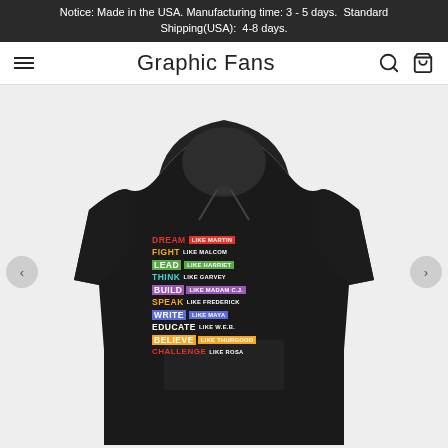Notice: Made in the USA. Manufacturing time: 3 - 5 days.  Standard Shipping(USA):  4-8 days.
Graphic Fans
[Figure (photo): Black hoodie sweatshirt with colorful text design: DREAM LIKE MARTIN, FIGHT LIKE MALCOM, LEAD LIKE HARRIET, THINK LIKE GARVEY, BUILD LIKE MADAM C.J., SPEAK LIKE FREDERICK, WRITE LIKE MAYA, EDUCATE LIKE W.E.B., BELIEVE LIKE THURGOOD, CHALLENGE LIKE ROSA]